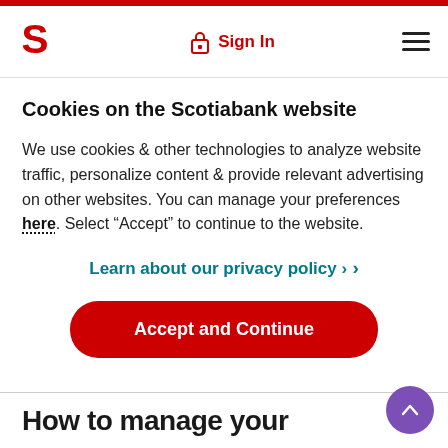Scotiabank header with logo, Sign In, and menu
Cookies on the Scotiabank website
We use cookies & other technologies to analyze website traffic, personalize content & provide relevant advertising on other websites. You can manage your preferences here. Select “Accept” to continue to the website.
Learn about our privacy policy ›
Accept and Continue
How to manage your